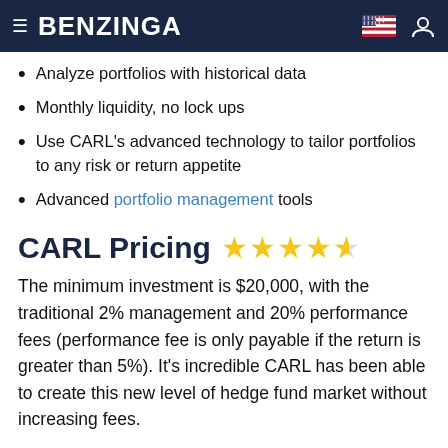BENZINGA
Analyze portfolios with historical data
Monthly liquidity, no lock ups
Use CARL's advanced technology to tailor portfolios to any risk or return appetite
Advanced portfolio management tools
CARL Pricing ★★★★½
The minimum investment is $20,000, with the traditional 2% management and 20% performance fees (performance fee is only payable if the return is greater than 5%). It's incredible CARL has been able to create this new level of hedge fund market without increasing fees.